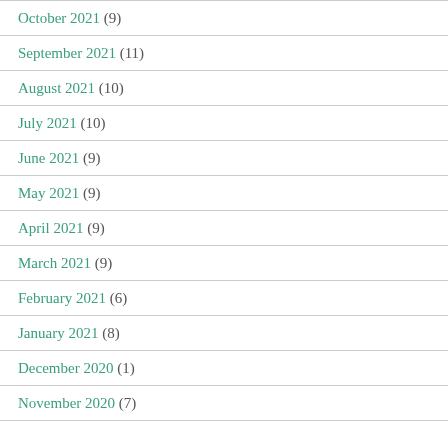October 2021 (9)
September 2021 (11)
August 2021 (10)
July 2021 (10)
June 2021 (9)
May 2021 (9)
April 2021 (9)
March 2021 (9)
February 2021 (6)
January 2021 (8)
December 2020 (1)
November 2020 (7)